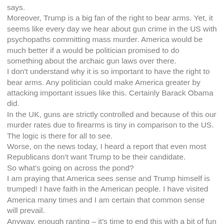says.
Moreover, Trump is a big fan of the right to bear arms. Yet, it seems like every day we hear about gun crime in the US with psychopaths committing mass murder. America would be much better if a would be politician promised to do something about the archaic gun laws over there.
I don't understand why it is so important to have the right to bear arms. Any politician could make America greater by attacking important issues like this. Certainly Barack Obama did.
In the UK, guns are strictly controlled and because of this our murder rates due to firearms is tiny in comparison to the US. The logic is there for all to see.
Worse, on the news today, I heard a report that even most Republicans don't want Trump to be their candidate.
So what's going on across the pond?
I am praying that America sees sense and Trump himself is trumped! I have faith in the American people. I have visited America many times and I am certain that common sense will prevail.
Anyway, enough ranting – it's time to end this with a bit of fun at Donald Trump's expense.